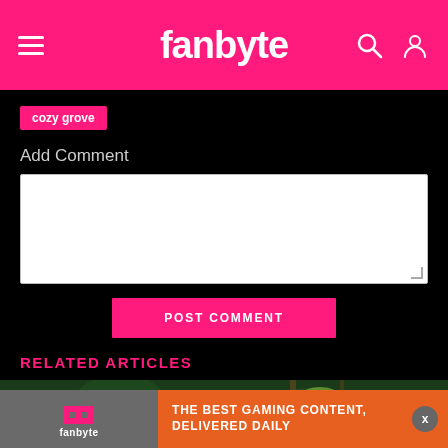fanbyte
cozy grove
Add Comment
POST COMMENT
RELATED ARTICLES
[Figure (photo): Green tropical plants/foliage background image]
THE BEST GAMING CONTENT, DELIVERED DAILY